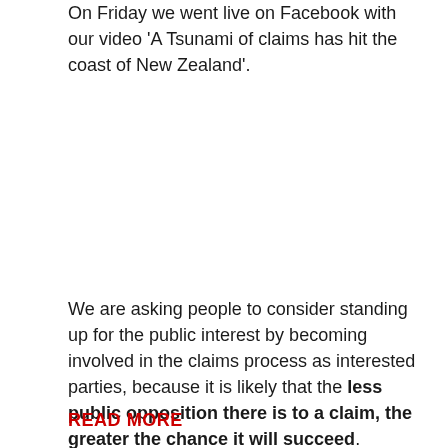On Friday we went live on Facebook with our video 'A Tsunami of claims has hit the coast of New Zealand'.
We are asking people to consider standing up for the public interest by becoming involved in the claims process as interested parties, because it is likely that the less public opposition there is to a claim, the greater the chance it will succeed.
READ MORE